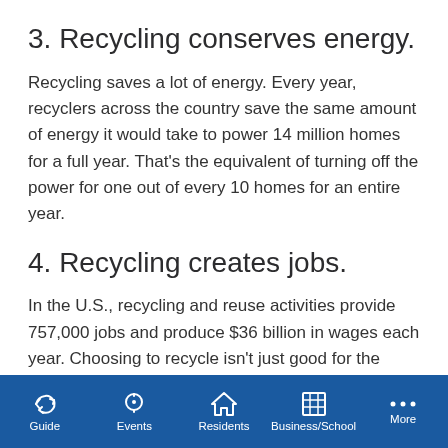3. Recycling conserves energy.
Recycling saves a lot of energy. Every year, recyclers across the country save the same amount of energy it would take to power 14 million homes for a full year. That’s the equivalent of turning off the power for one out of every 10 homes for an entire year.
4. Recycling creates jobs.
In the U.S., recycling and reuse activities provide 757,000 jobs and produce $36 billion in wages each year. Choosing to recycle isn’t just good for the environment, it’s good for the economy too.
Guide | Events | Residents | Business/School | More